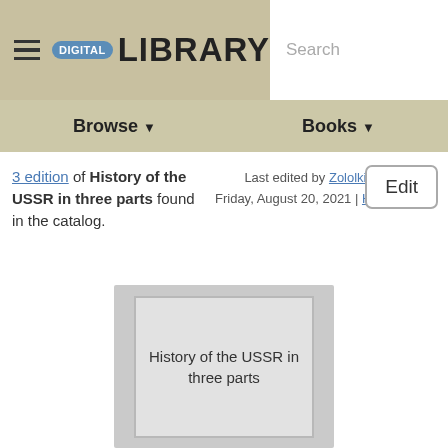DIGITAL LIBRARY  Search
Browse  Books
3 edition of History of the USSR in three parts found in the catalog.
Last edited by Zololkis
Friday, August 20, 2021 | History
Edit
[Figure (illustration): Book cover placeholder showing title 'History of the USSR in three parts' on a grey background]